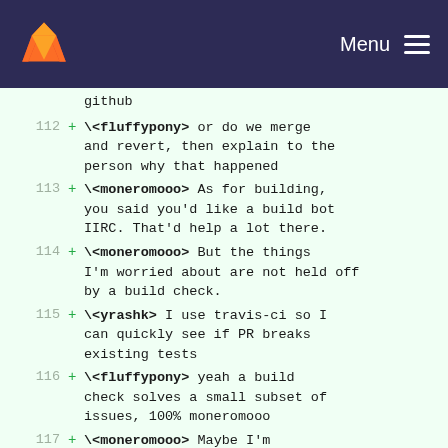Menu
github
112 + **\<fluffypony>** or do we merge and revert, then explain to the person why that happened
113 + **\<moneromooo>** As for building, you said you'd like a build bot IIRC. That'd help a lot there.
114 + **\<moneromooo>** But the things I'm worried about are not held off by a build check.
115 + **\<yrashk>** I use travis-ci so I can quickly see if PR breaks existing tests
116 + **\<fluffypony>** yeah a build check solves a small subset of issues, 100% moneromooo
117 + **\<moneromooo>** Maybe I'm paranoid, but I totally see part of the BCT jerks spamming our tree just because.